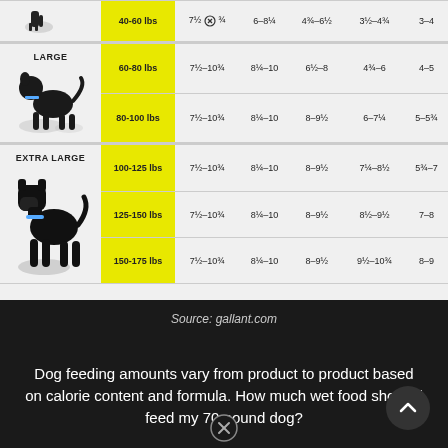| Dog Size | Weight | Col1 | Col2 | Col3 | Col4 | Col5 |
| --- | --- | --- | --- | --- | --- | --- |
|  | 40-60 lbs | 7½ ⊗ ¾ | 6–8¼ | 4¾–6½ | 3½–4¾ | 3–4 |
| LARGE | 60-80 lbs | 7½–10¾ | 8¼–10 | 6½–8 | 4¾–6 | 4–5 |
|  | 80-100 lbs | 7½–10¾ | 8¼–10 | 8–9½ | 6–7¼ | 5–5¾ |
| EXTRA LARGE | 100-125 lbs | 7½–10¾ | 8¼–10 | 8–9½ | 7¼–8½ | 5¾–7 |
|  | 125-150 lbs | 7½–10¾ | 8¼–10 | 8–9½ | 8½–9½ | 7–8 |
|  | 150-175 lbs | 7½–10¾ | 8¼–10 | 8–9½ | 9½–10¾ | 8–9 |
Source: gallant.com
Dog feeding amounts vary from product to product based on calorie content and formula. How much wet food should i feed my 70 pound dog?